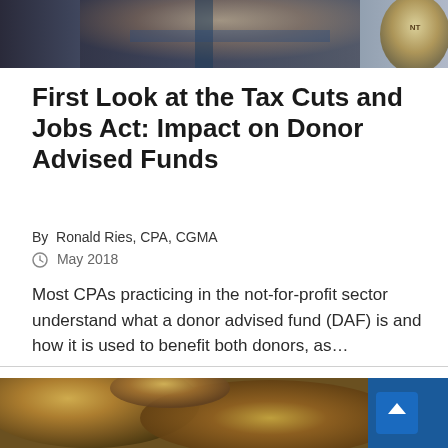[Figure (photo): Partial photo of a person in a suit at a podium or official setting, with a circular seal/badge visible at the right side. Blue and grey tones.]
First Look at the Tax Cuts and Jobs Act: Impact on Donor Advised Funds
By  Ronald Ries, CPA, CGMA
May 2018
Most CPAs practicing in the not-for-profit sector understand what a donor advised fund (DAF) is and how it is used to benefit both donors, as...
[Figure (photo): Close-up photo of gold/bronze coins partially visible with a blue background element on the right.]